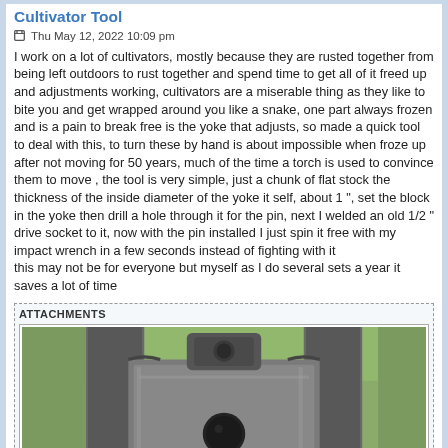Cultivator Tool
Thu May 12, 2022 10:09 pm
I work on a lot of cultivators, mostly because they are rusted together from being left outdoors to rust together and spend time to get all of it freed up and adjustments working, cultivators are a miserable thing as they like to bite you and get wrapped around you like a snake, one part always frozen and is a pain to break free is the yoke that adjusts, so made a quick tool to deal with this, to turn these by hand is about impossible when froze up after not moving for 50 years, much of the time a torch is used to convince them to move , the tool is very simple, just a chunk of flat stock the thickness of the inside diameter of the yoke it self, about 1 ", set the block in the yoke then drill a hole through it for the pin, next I welded an old 1/2 " drive socket to it, now with the pin installed I just spin it free with my impact wrench in a few seconds instead of fighting with it
this may not be for everyone but myself as I do several sets a year it saves a lot of time
[Figure (photo): Close-up photo of a metal cultivator yoke tool made from flat stock steel with a drilled hole, shown against a grassy background.]